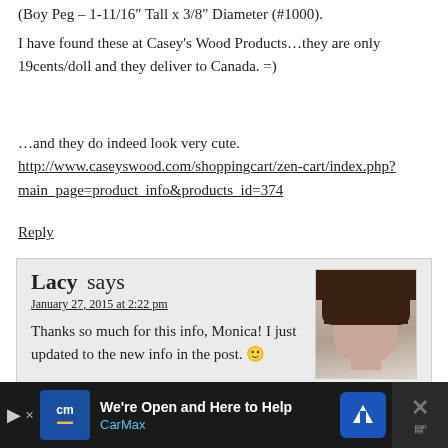(Boy Peg – 1-11/16" Tall x 3/8" Diameter (#1000).
I have found these at Casey's Wood Products…they are only 19cents/doll and they deliver to Canada. =)
…and they do indeed look very cute.
http://www.caseyswood.com/shoppingcart/zen-cart/index.php?main_page=product_info&products_id=374
Reply
Lacy says
January 27, 2015 at 2:22 pm
Thanks so much for this info, Monica! I just updated to the new info in the post. 🙂
Reply
[Figure (photo): Avatar photo of commenter Lacy – a woman with dark brown hair]
We're Open and Here to Help
CarMax